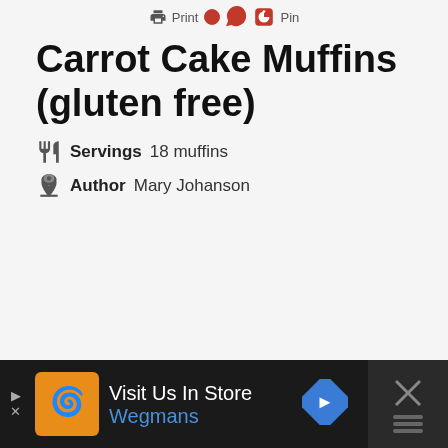Print  Pin
Carrot Cake Muffins (gluten free)
Servings  18 muffins
Author  Mary Johanson
[Figure (screenshot): Advertisement banner: Visit Us In Store Wegmans with logo and navigation icon]